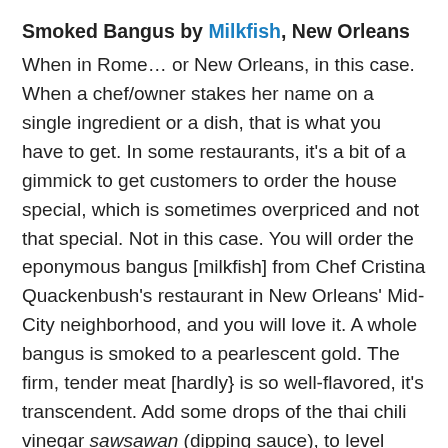Smoked Bangus by Milkfish, New Orleans
When in Rome… or New Orleans, in this case. When a chef/owner stakes her name on a single ingredient or a dish, that is what you have to get. In some restaurants, it's a bit of a gimmick to get customers to order the house special, which is sometimes overpriced and not that special. Not in this case. You will order the eponymous bangus [milkfish] from Chef Cristina Quackenbush's restaurant in New Orleans' Mid-City neighborhood, and you will love it. A whole bangus is smoked to a pearlescent gold. The firm, tender meat [hardly} is so well-flavored, it's transcendent. Add some drops of the thai chili vinegar sawsawan (dipping sauce), to level everything up. You will eat the skin, too. Nothing was left for the cats (as my late father used to joke) except